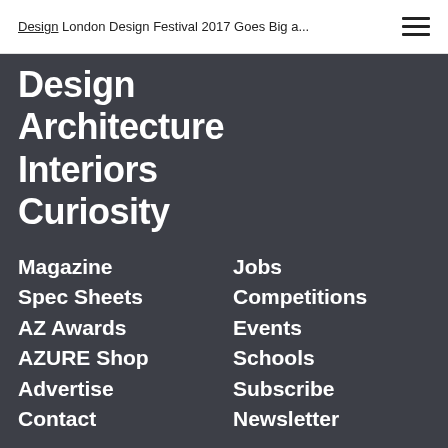Design London Design Festival 2017 Goes Big a...
Design
Architecture
Interiors
Curiosity
Magazine
Jobs
Spec Sheets
Competitions
AZ Awards
Events
AZURE Shop
Schools
Advertise
Subscribe
Contact
Newsletter